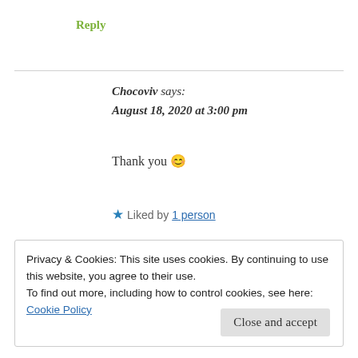Reply
Chocoviv says:
August 18, 2020 at 3:00 pm
Thank you 😊
★ Liked by 1 person
Privacy & Cookies: This site uses cookies. By continuing to use this website, you agree to their use.
To find out more, including how to control cookies, see here: Cookie Policy
Close and accept